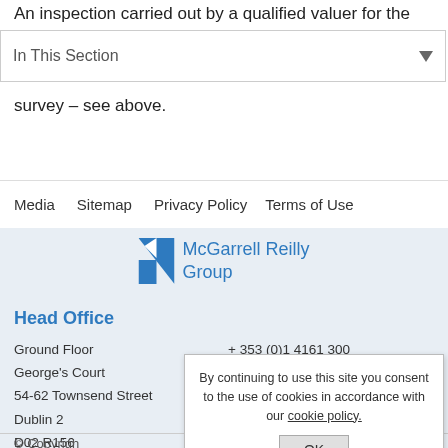An inspection carried out by a qualified valuer for the
In This Section
survey – see above.
Media   Sitemap   Privacy Policy   Terms of Use
[Figure (logo): McGarrell Reilly Group logo with blue flag/arrow icon]
Head Office
Ground Floor
George's Court
54-62 Townsend Street
Dublin 2
D02 R156
+ 353 (0)1 4161 300
+ 353 (0)1 4161 399
info@mcgarrellreilly.ie
By continuing to use this site you consent to the use of cookies in accordance with our cookie policy.
OK
© Copyright